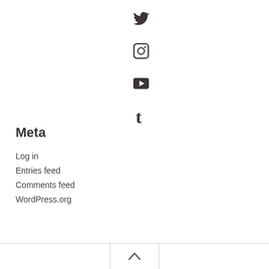[Figure (illustration): Social media icons: Twitter bird icon, Instagram camera icon, YouTube play button icon, Tumblr 't' icon, arranged vertically in a column]
Meta
Log in
Entries feed
Comments feed
WordPress.org
↑